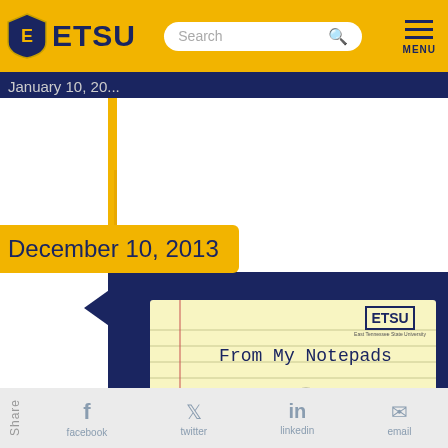[Figure (screenshot): ETSU website header with gold navigation bar showing ETSU logo, search bar, and menu button]
January 10, 20...
December 10, 2013
[Figure (screenshot): Video thumbnail on notepad-style background showing 'From My Notepads - ETSU President Brian Noland December 10, 2013' with play button]
Share  facebook  twitter  linkedin  email